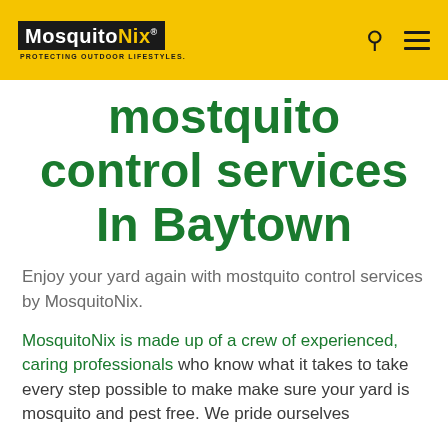MosquitoNix — PROTECTING OUTDOOR LIFESTYLES.
mostquito control services In Baytown
Enjoy your yard again with mostquito control services by MosquitoNix.
MosquitoNix is made up of a crew of experienced, caring professionals who know what it takes to take every step possible to make make sure your yard is mosquito and pest free. We pride ourselves on providing Baytown residents with the kind...